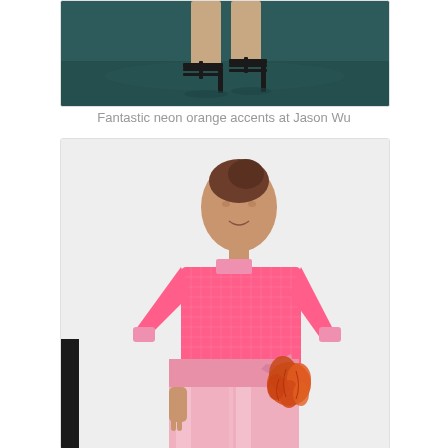[Figure (photo): Close-up photo of feet/shoes with strappy black heels on a dark teal/green floor, partial view of a fashion show runway]
Fantastic neon orange accents at Jason Wu
[Figure (photo): Fashion photo of a woman wearing a neon pink/coral checkered top with pink satin wide-leg pants and an orange feather accessory at the waist, against a white background]